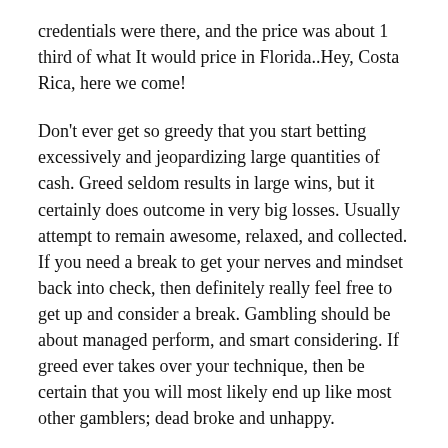credentials were there, and the price was about 1 third of what It would price in Florida..Hey, Costa Rica, here we come!
Don't ever get so greedy that you start betting excessively and jeopardizing large quantities of cash. Greed seldom results in large wins, but it certainly does outcome in very big losses. Usually attempt to remain awesome, relaxed, and collected. If you need a break to get your nerves and mindset back into check, then definitely really feel free to get up and consider a break. Gambling should be about managed perform, and smart considering. If greed ever takes over your technique, then be certain that you will most likely end up like most other gamblers; dead broke and unhappy.
The Raiders sponsor the San Diego Chargers in Week 5 and then they move to San Francisco in 7 days 6. The